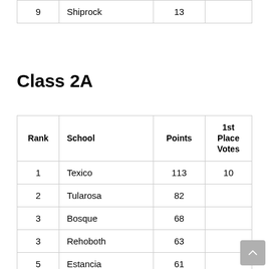| Rank | School | Points | 1st Place Votes |
| --- | --- | --- | --- |
| 9 | Shiprock | 13 |  |
Class 2A
| Rank | School | Points | 1st Place Votes |
| --- | --- | --- | --- |
| 1 | Texico | 113 | 10 |
| 2 | Tularosa | 82 |  |
| 3 | Bosque | 68 |  |
| 3 | Rehoboth | 63 |  |
| 5 | Estancia | 61 |  |